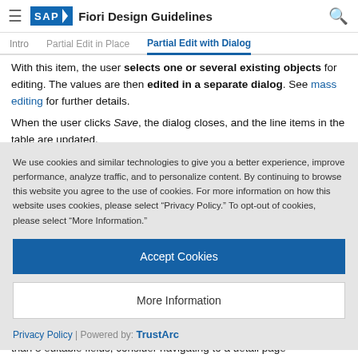SAP Fiori Design Guidelines
Intro | Partial Edit in Place | Partial Edit with Dialog
With this item, the user selects one or several existing objects for editing. The values are then edited in a separate dialog. See mass editing for further details.
When the user clicks Save, the dialog closes, and the line items in the table are updated.
We use cookies and similar technologies to give you a better experience, improve performance, analyze traffic, and to personalize content. By continuing to browse this website you agree to the use of cookies. For more information on how this website uses cookies, please select “Privacy Policy.” To opt-out of cookies, please select “More Information.”
Accept Cookies
More Information
Privacy Policy | Powered by: TrustArc
than 8 editable fields, consider navigating to a detail page